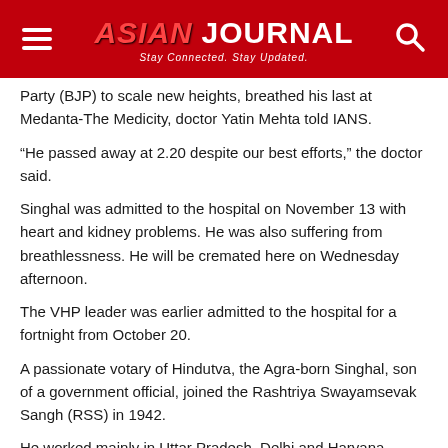ASIAN JOURNAL — Stay Connected. Stay Updated.
Party (BJP) to scale new heights, breathed his last at Medanta-The Medicity, doctor Yatin Mehta told IANS.
“He passed away at 2.20 despite our best efforts,” the doctor said.
Singhal was admitted to the hospital on November 13 with heart and kidney problems. He was also suffering from breathlessness. He will be cremated here on Wednesday afternoon.
The VHP leader was earlier admitted to the hospital for a fortnight from October 20.
A passionate votary of Hindutva, the Agra-born Singhal, son of a government official, joined the Rashtriya Swayamsevak Sangh (RSS) in 1942.
He worked mainly in Uttar Pradesh, Delhi and Haryana before the RSS deputed him to one of its then lesser known affiliates, the Vishwa Hindu Parishad (VHP), in 1980.